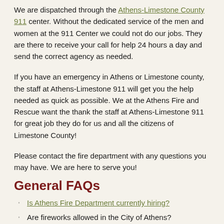We are dispatched through the Athens-Limestone County 911 center. Without the dedicated service of the men and women at the 911 Center we could not do our jobs. They are there to receive your call for help 24 hours a day and send the correct agency as needed.
If you have an emergency in Athens or Limestone county, the staff at Athens-Limestone 911 will get you the help needed as quick as possible. We at the Athens Fire and Rescue want the thank the staff at Athens-Limestone 911 for great job they do for us and all the citizens of Limestone County!
Please contact the fire department with any questions you may have. We are here to serve you!
General FAQs
Is Athens Fire Department currently hiring?
Are fireworks allowed in the City of Athens?